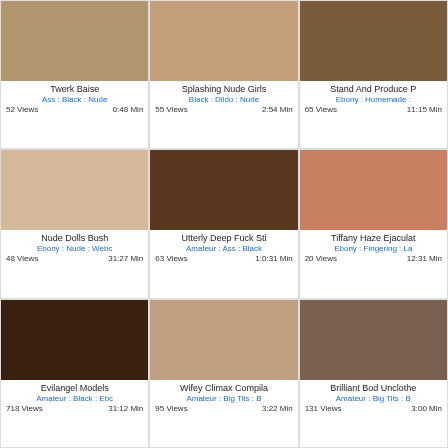[Figure (photo): Video thumbnail 1]
Twerk Baise
Ass : Black : Nude
52 Views   0:48 Min
[Figure (photo): Video thumbnail 2]
Splashing Nude Girls
Black : Dildo : Nude
55 Views   2:54 Min
[Figure (photo): Video thumbnail 3]
Stand And Produce P
Ebony : Homemade :
65 Views   11:15 Min
[Figure (photo): Video thumbnail 4]
Nude Dolls Bush
Ebony : Nude : Webc
48 Views   31:27 Min
[Figure (photo): Video thumbnail 5]
Utterly Deep Fuck Sti
Amateur : Ass : Black
63 Views   1:0:31 Min
[Figure (photo): Video thumbnail 6]
Tiffany Haze Ejaculat
Ebony : Fingering : La
20 Views   12:31 Min
[Figure (photo): Video thumbnail 7]
Evilangel Models
Amateur : Black : Ebc
718 Views   31:12 Min
[Figure (photo): Video thumbnail 8]
Wifey Climax Compila
Amateur : Big Tits : B
95 Views   3:22 Min
[Figure (photo): Video thumbnail 9]
Brilliant Bod Unclothe
Amateur : Big Tits : B
131 Views   3:00 Min